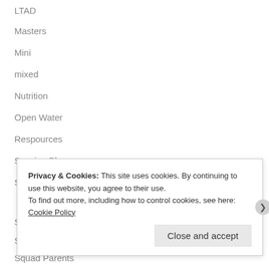LTAD
Masters
Mini
mixed
Nutrition
Open Water
Respources
Session Plan
Sessions
Teaching
Skills
Sport Psychology
Squad Parents
Squads
Privacy & Cookies: This site uses cookies. By continuing to use this website, you agree to their use.
To find out more, including how to control cookies, see here: Cookie Policy
Close and accept